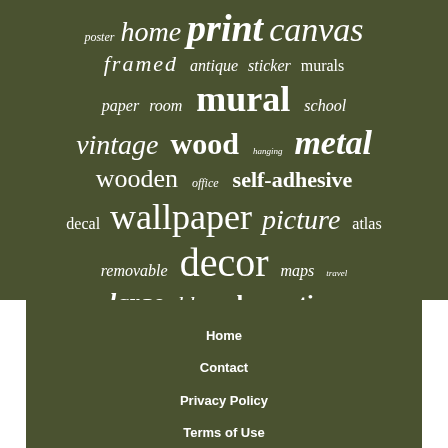[Figure (infographic): Word cloud on dark olive/green background with words related to maps, wall decor, and home decoration. Words vary in size and style indicating relative frequency/importance. Words include: poster, home, print, canvas, framed, antique, sticker, murals, paper, room, mural, school, vintage, wood, hanging, metal, wooden, office, self-adhesive, decal, wallpaper, picture, atlas, removable, decor, maps, travel, large, blue, decoration]
Home
Contact
Privacy Policy
Terms of Use